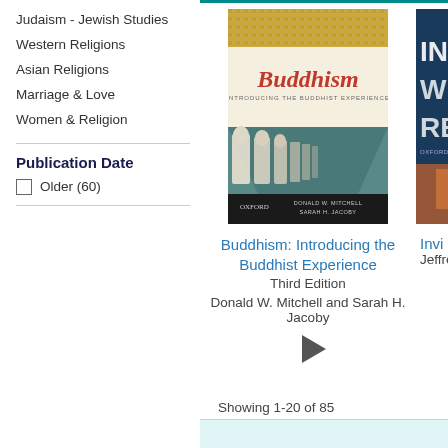Judaism - Jewish Studies
Western Religions
Asian Religions
Marriage & Love
Women & Religion
Publication Date
Older (60)
[Figure (photo): Book cover: Buddhism: Introducing the Buddhist Experience, Third Edition by Donald W. Mitchell and Sarah H. Jacoby. Cover shows a row of Buddhist statues in a temple corridor, with golden mosaic tiles at top.]
[Figure (photo): Partial book cover: Inviting Western Religions text visible, published by Oxford.]
Buddhism: Introducing the Buddhist Experience
Third Edition
Donald W. Mitchell and Sarah H. Jacoby
Invi
Jeffrey B
Showing 1-20 of 85